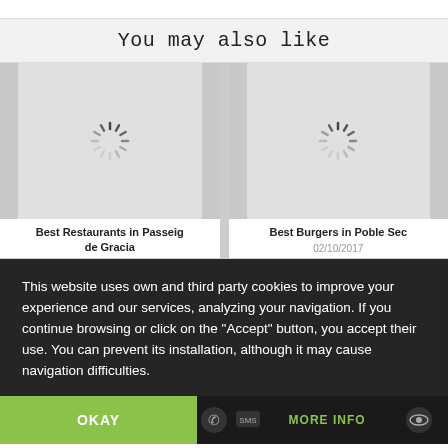You may also like
[Figure (screenshot): Card showing loading spinner for 'Best Restaurants in Passeig de Gracia']
Best Restaurants in Passeig de Gracia
[Figure (screenshot): Card showing loading spinner for 'Best Burgers in Poble Sec']
Best Burgers in Poble Sec
02/10/2017
This website uses own and third party cookies to improve your experience and our services, analyzing your navigation. If you continue browsing or click on the "Accept" button, you accept their use. You can prevent its installation, although it may cause navigation difficulties.
OKAY
MORE INFO